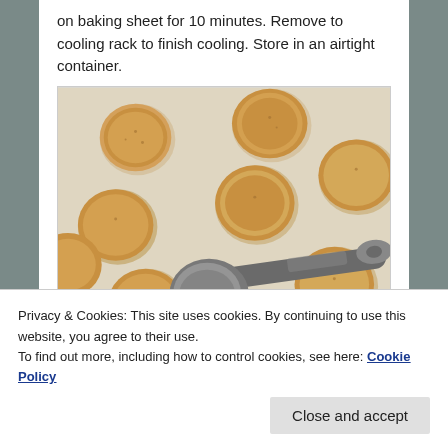on baking sheet for 10 minutes. Remove to cooling rack to finish cooling. Store in an airtight container.
[Figure (photo): Photo of baked cookies on parchment paper on a baking sheet, with a measuring spoon lying among them.]
Privacy & Cookies: This site uses cookies. By continuing to use this website, you agree to their use.
To find out more, including how to control cookies, see here: Cookie Policy
Close and accept